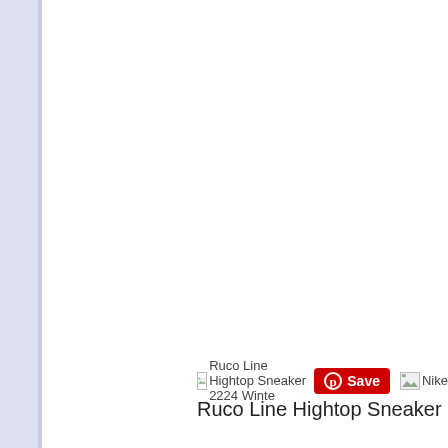[Figure (screenshot): A webpage screenshot showing product listings. Left side has a lavender/blue sidebar. Main content area shows two product thumbnails (broken image icons) with text labels. First product: 'Ruco Line Hightop Sneaker 2224 Winter Free' with a Pinterest 'Save' button overlay. Second product partially visible: 'Nike S...' The Pinterest Save button is red with white Pinterest logo and 'Save' text.]